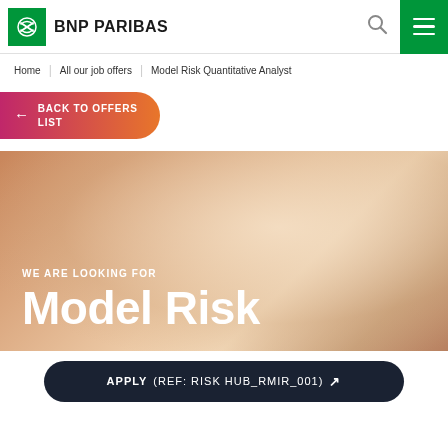BNP PARIBAS
Home | All our job offers | Model Risk Quantitative Analyst
BACK TO OFFERS LIST
[Figure (illustration): Gradient hero banner with warm orange-peach tones. Text reads: WE ARE LOOKING FOR / Model Risk]
APPLY (REF: RISK HUB_RMIR_001)